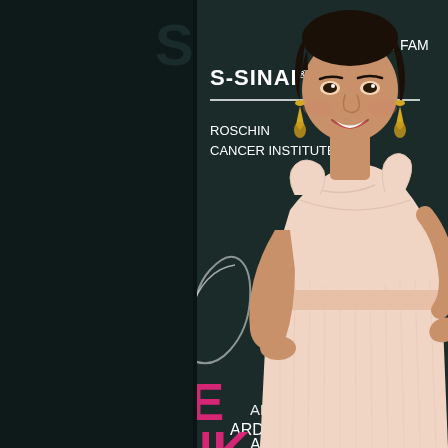[Figure (photo): A young woman with dark hair poses on a red carpet event in front of a step-and-repeat banner. She is wearing a light pink/blush strapless pleated evening gown and gold drop earrings, smiling at the camera with her hand on her hip. The backdrop shows signage including 'S-SINAI', 'ROSCHIN CANCER INSTITUTE', 'ARD by elyse' and large pink letters spelling partial text including 'IE', 'NK'. The background is dark teal/black.]